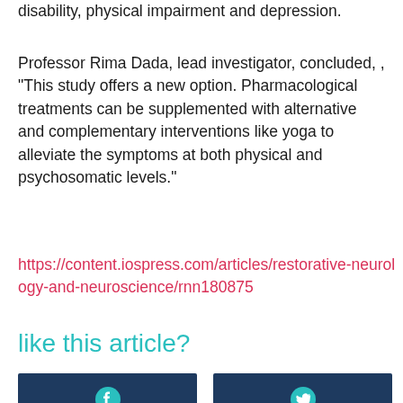disability, physical impairment and depression.
Professor Rima Dada, lead investigator, concluded, , "This study offers a new option. Pharmacological treatments can be supplemented with alternative and complementary interventions like yoga to alleviate the symptoms at both physical and psychosomatic levels."
https://content.iospress.com/articles/restorative-neurology-and-neuroscience/rnn180875
like this article?
[Figure (other): Two social share buttons side by side: Facebook (left) and Twitter (right), both with dark navy background and teal/white icons]